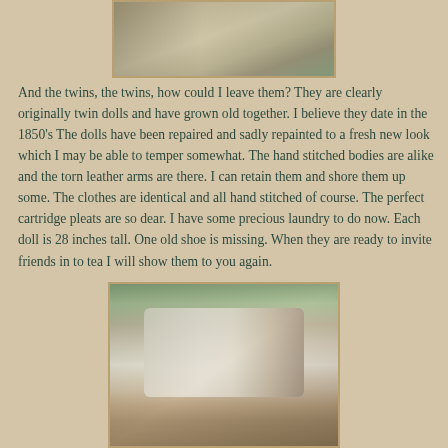[Figure (photo): Partial view of a quilt or fabric with a doll, cropped at top of page]
And the twins,  the twins, how could I leave them?  They are clearly originally twin dolls and have grown old together. I believe they date in the 1850's  The dolls have been repaired and sadly repainted to a fresh new look which I may be able to temper somewhat. The hand stitched bodies are alike and the torn leather arms are there.  I can retain them and shore them up some. The clothes are identical and all hand stitched of course.  The perfect cartridge pleats are so dear.  I have some precious laundry to do now.  Each doll is 28 inches tall.  One old shoe is missing.  When they are ready to invite friends in to tea I will show them to you again.
[Figure (photo): An antique doll lying flat on a quilt or patterned fabric, photographed from above]